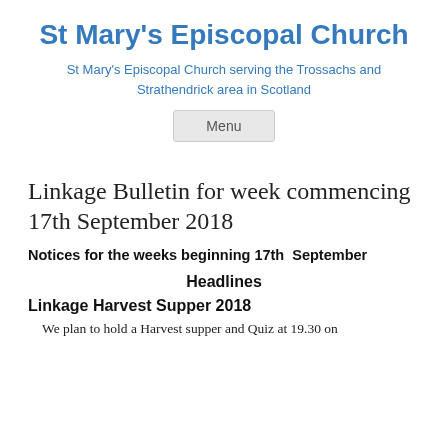St Mary's Episcopal Church
St Mary's Episcopal Church serving the Trossachs and Strathendrick area in Scotland
[Figure (other): Menu navigation button]
Linkage Bulletin for week commencing 17th September 2018
Notices for the weeks beginning 17th September
Headlines
Linkage Harvest Supper 2018
We plan to hold a Harvest supper and Quiz at 19.30 on